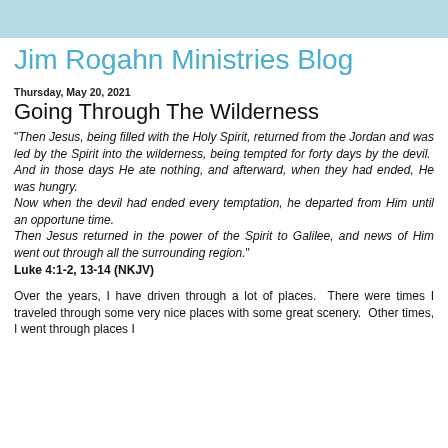Jim Rogahn Ministries Blog
Jim Rogahn Ministries Blog
Thursday, May 20, 2021
Going Through The Wilderness
"Then Jesus, being filled with the Holy Spirit, returned from the Jordan and was led by the Spirit into the wilderness, being tempted for forty days by the devil. And in those days He ate nothing, and afterward, when they had ended, He was hungry.
Now when the devil had ended every temptation, he departed from Him until an opportune time.
Then Jesus returned in the power of the Spirit to Galilee, and news of Him went out through all the surrounding region."
Luke 4:1-2, 13-14 (NKJV)
Over the years, I have driven through a lot of places. There were times I traveled through some very nice places with some great scenery. Other times, I went through places I